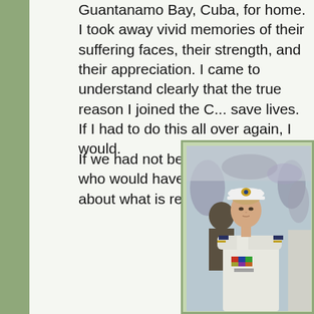Guantanamo Bay, Cuba, for home. I took away vivid memories of their suffering faces, their strength, and their appreciation. I came to understand clearly that the true reason I joined the Coast Guard was to save lives. If I had to do this all over again, I would.
If we had not been there for them, who would have been? I learned a vital lesson about what is really important.
[Figure (photo): A female Coast Guard officer in white dress uniform with rank insignia and ribbons, wearing a combination cover (white cap with gold emblem), standing among other uniformed personnel at what appears to be an outdoor ceremony or event. Crowd visible in background.]